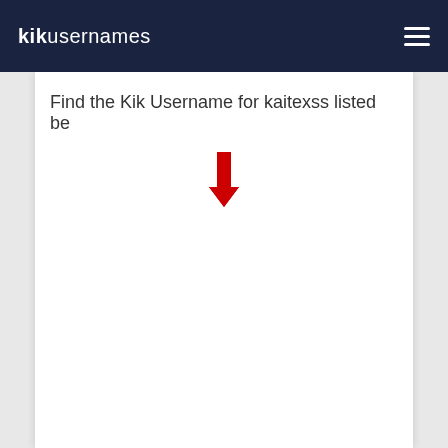kikusernames
Find the Kik Username for kaitexss listed be
[Figure (other): Red downward pointing arrow icon]